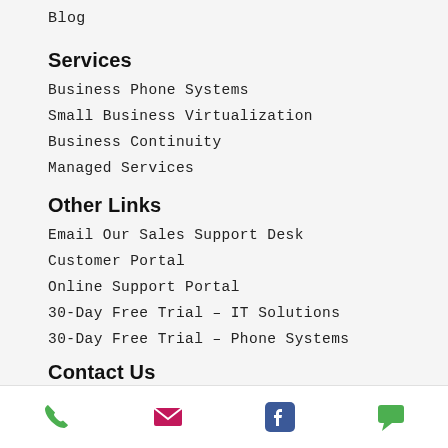Blog
Services
Business Phone Systems
Small Business Virtualization
Business Continuity
Managed Services
Other Links
Email Our Sales Support Desk
Customer Portal
Online Support Portal
30-Day Free Trial – IT Solutions
30-Day Free Trial – Phone Systems
Contact Us
704-334-1252
Phone | Email | Facebook | Chat